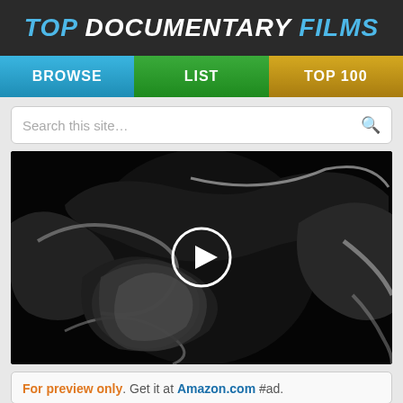TOP DOCUMENTARY FILMS
BROWSE | LIST | TOP 100
Search this site…
[Figure (screenshot): Dark abstract video thumbnail with black and white swirling forms, featuring a white circular play button overlay in the center]
For preview only. Get it at Amazon.com #ad.